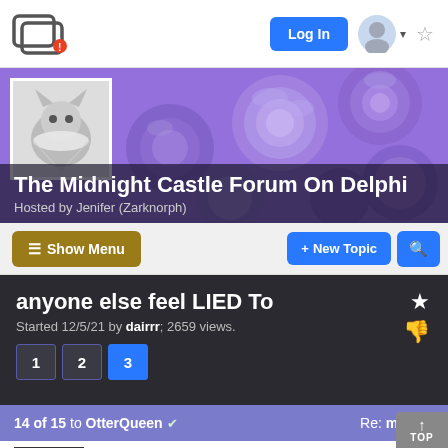The Midnight Castle Forum On Delphi — Navigation bar with Log In button
[Figure (screenshot): Purple roses banner image with cat avatar photo]
The Midnight Castle Forum On Delphi
Hosted by Jenifer (Zarknorph)
Show Menu
+ New Topic
anyone else feel LIED To
Started 12/5/21 by dairrr; 2659 views.
Page 1
Page 2
Page 3
14 of 15 to OtterQueen  Re: msg 13
From: Honeyphan
12/9/21
Andrew Lloyd Webber's version is the best. :) Both the movie